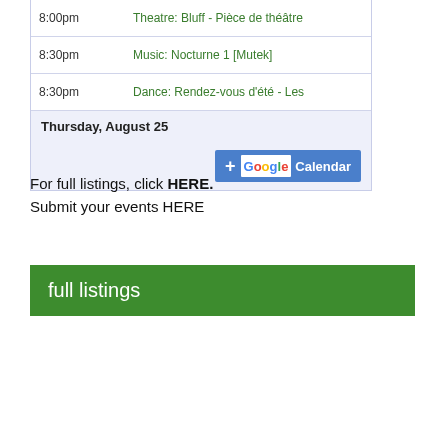| Time | Event |
| --- | --- |
| 8:00pm | Theatre: Bluff - Pièce de théâtre |
| 8:30pm | Music: Nocturne 1 [Mutek] |
| 8:30pm | Dance: Rendez-vous d'été - Les |
Thursday, August 25
[Figure (other): Add to Google Calendar button]
For full listings, click HERE.
Submit your events HERE
full listings